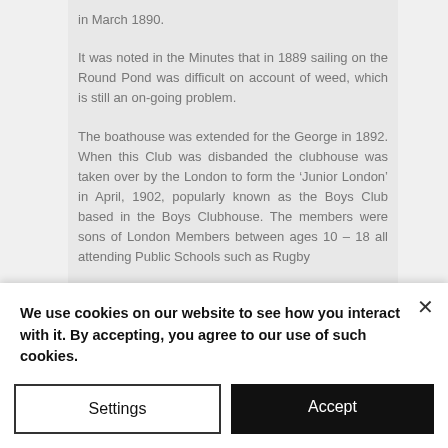in March 1890.
It was noted in the Minutes that in 1889 sailing on the Round Pond was difficult on account of weed, which is still an on-going problem.
The boathouse was extended for the George in 1892. When this Club was disbanded the clubhouse was taken over by the London to form the ‘Junior London’ in April, 1902, popularly known as the Boys Club based in the Boys Clubhouse. The members were sons of London Members between ages 10 – 18 all attending Public Schools such as Rugby
We use cookies on our website to see how you interact with it. By accepting, you agree to our use of such cookies.
Settings
Accept